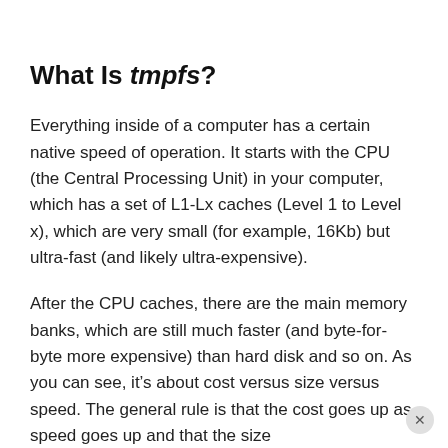What Is tmpfs?
Everything inside of a computer has a certain native speed of operation. It starts with the CPU (the Central Processing Unit) in your computer, which has a set of L1-Lx caches (Level 1 to Level x), which are very small (for example, 16Kb) but ultra-fast (and likely ultra-expensive).
After the CPU caches, there are the main memory banks, which are still much faster (and byte-for-byte more expensive) than hard disk and so on. As you can see, it’s about cost versus size versus speed. The general rule is that the cost goes up as speed goes up and that the size